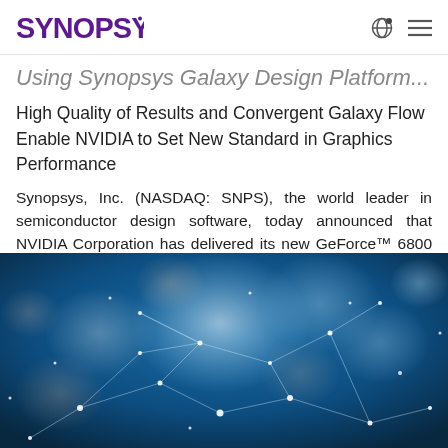SYNOPSYS
Using Synopsys Galaxy Design Platform...
High Quality of Results and Convergent Galaxy Flow Enable NVIDIA to Set New Standard in Graphics Performance
Synopsys, Inc. (NASDAQ: SNPS), the world leader in semiconductor design software, today announced that NVIDIA Corporation has delivered its new GeForce™ 6800 graphics processing unit (GPU),...
[Figure (photo): Abstract technology network visualization with blue bokeh lights and glowing connected nodes/lines on dark blue background]